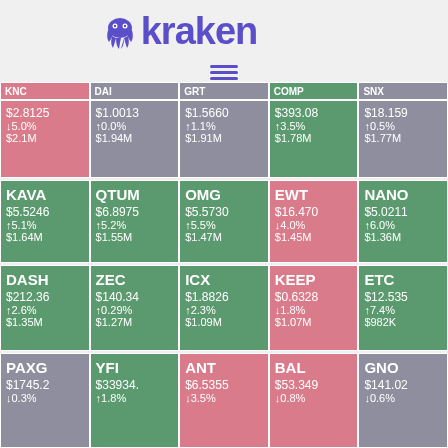[Figure (logo): Kraken cryptocurrency exchange logo with purple octopus icon and 'kraken' text]
| KNC | DAI | GRT | COMP | SNX |
| --- | --- | --- | --- | --- |
| $2.8125 | $1.0013 | $1.5660 | $393.08 | $18.159 |
| ↓5.0% | ↑0.0% | ↑1.1% | ↑3.5% | ↑0.5% |
| $2.1M | $1.94M | $1.91M | $1.78M | $1.77M |
| KAVA | QTUM | OMG | EWT | NANO |
| --- | --- | --- | --- | --- |
| $5.5246 | $6.8975 | $5.5730 | $16.470 | $5.0211 |
| ↑5.1% | ↑5.2% | ↑5.5% | ↓4.0% | ↑6.0% |
| $1.64M | $1.55M | $1.47M | $1.45M | $1.36M |
| DASH | ZEC | ICX | KEEP | ETC |
| --- | --- | --- | --- | --- |
| $212.36 | $140.34 | $1.8826 | $0.6328 | $12.535 |
| ↑2.6% | ↑0.29% | ↑2.3% | ↓1.8% | ↑7.4% |
| $1.35M | $1.27M | $1.09M | $1.07M | $982K |
| PAXG | YFI | ANT | BAL | GNO |
| --- | --- | --- | --- | --- |
| $1745.2 | $33934. | $6.5355 | $53.349 | $141.02 |
| ↓0.3% | ↑1.8% | ↓3.5% | ↓0.8% | ↓0.6% |